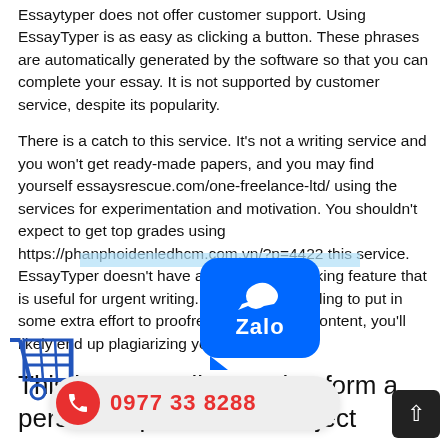Essaytyper does not offer customer support. Using EssayTyper is as easy as clicking a button. These phrases are automatically generated by the software so that you can complete your essay. It is not supported by customer service, despite its popularity.
There is a catch to this service. It's not a writing service and you won't get ready-made papers, and you may find yourself essaysrescue.com/one-freelance-ltd/ using the services for experimentation and motivation. You shouldn't expect to get top grades using https://phanphoidenledhcm.com.vn/?p=4422 this service. EssayTyper doesn't have a plagiarism checking feature that is useful for urgent writing. Unless you're willing to put in some extra effort to proofread and edit the content, you'll likely end up plagiarizing your own work.
This is an excellent tool to form a personal opinion on a subject
An essay typer, a writing tool that can be used to improve writing samples, is extremely useful. This is an extremely detailed [tool]. Check[...] grammar mistakes. If you are prone[...] https://resourcehub.mphgroup.uk/?p=11676 a list. Then, you